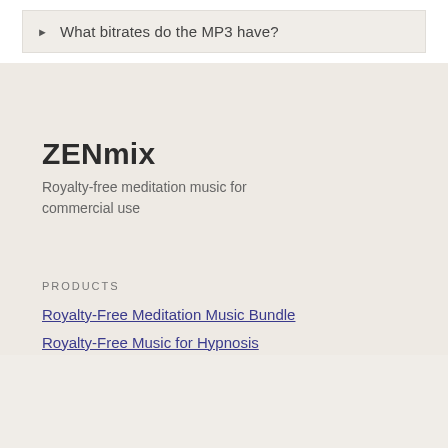▶ What bitrates do the MP3 have?
ZENmix
Royalty-free meditation music for commercial use
Products
Royalty-Free Meditation Music Bundle
Royalty-Free Music for Hypnosis